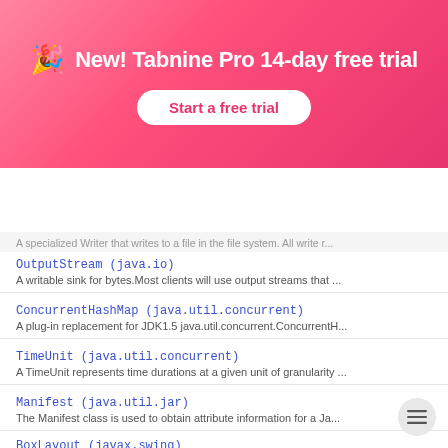[Figure (infographic): Pink/red gradient banner with party popper icon, title 'New! Tabnine Pro 14-day free trial', and a white 'Start a free trial' button]
New! Tabnine Pro 14-day free trial
Start a free trial
[Figure (logo): Tabnine logo with hexagonal icon and wordmark 'tabnine', plus blue rounded 'Add Tabnine to your IDE (free)' button]
A specialized Writer that writes to a file in the file system. All Write r...
OutputStream (java.io)
A writable sink for bytes.Most clients will use output streams that ...
ConcurrentHashMap (java.util.concurrent)
A plug-in replacement for JDK1.5 java.util.concurrent.ConcurrentH...
TimeUnit (java.util.concurrent)
A TimeUnit represents time durations at a given unit of granularity ...
Manifest (java.util.jar)
The Manifest class is used to obtain attribute information for a Ja...
BoxLayout (javax.swing)